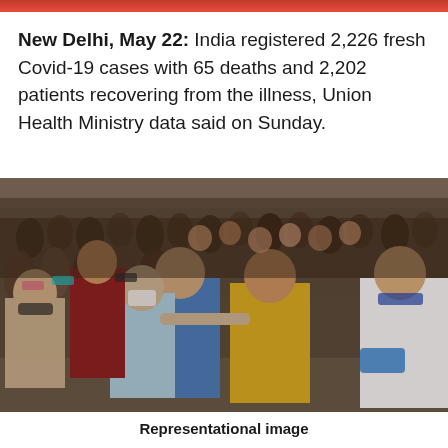New Delhi, May 22: India registered 2,226 fresh Covid-19 cases with 65 deaths and 2,202 patients recovering from the illness, Union Health Ministry data said on Sunday.
[Figure (photo): A crowded indoor space showing a healthcare worker in PPE administering a COVID-19 nasal swab test to a man in a yellow shirt, with a doctor in a white coat and blue gloves on the right and a large crowd of people wearing masks in the background.]
Representational image